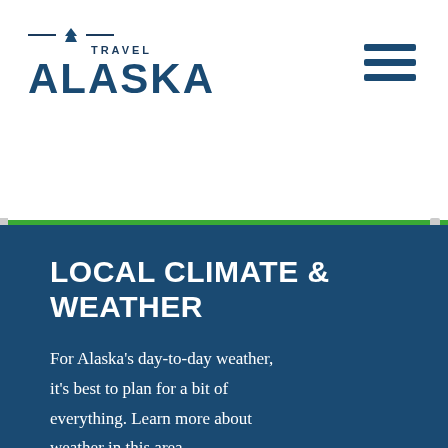[Figure (logo): Travel Alaska logo with mountain icon, horizontal lines, and large ALASKA text in dark blue]
[Figure (other): Hamburger menu icon with three dark blue horizontal bars]
LOCAL CLIMATE & WEATHER
For Alaska's day-to-day weather, it's best to plan for a bit of everything. Learn more about weather in this area.